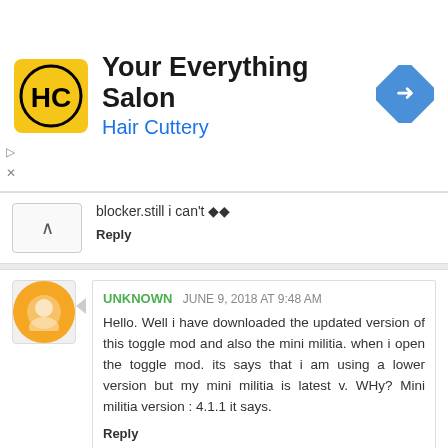[Figure (other): Hair Cuttery advertisement banner with logo, title 'Your Everything Salon', subtitle 'Hair Cuttery', and a navigation icon]
blocker.still i can't ◆◆
Reply
UNKNOWN  JUNE 9, 2018 AT 9:48 AM
Hello. Well i have downloaded the updated version of this toggle mod and also the mini militia. when i open the toggle mod. its says that i am using a lower version but my mini militia is latest v. WHy? Mini militia version : 4.1.1 it says.
Reply
UNKNOWN  JUNE 9, 2018 AT 10:58 AM
Why it says me to upgrade when i already have the updated version of mini militia
Reply